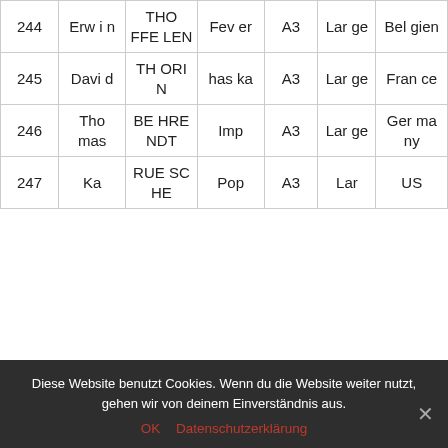| 244 | Erwin | THOFFELEN | Fever | A3 | Large | Belgien |
| 245 | David | THORIN | haska | A3 | Large | France |
| 246 | Thomas | BEHRENDT | Imp | A3 | Large | Germany |
| 247 | Ka | RUESCHE | Pop | A3 | Lar | US |
Diese Website benutzt Cookies. Wenn du die Website weiter nutzt, gehen wir von deinem Einverständnis aus.
OK  Datenschutzerklärung